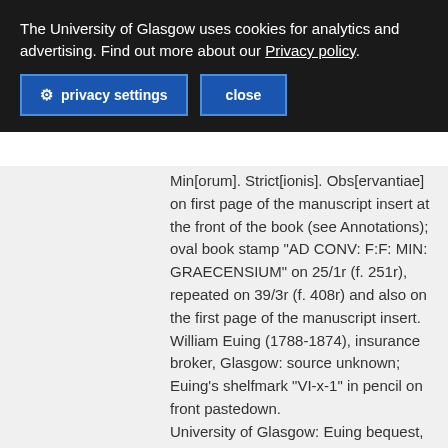The University of Glasgow uses cookies for analytics and advertising. Find out more about our Privacy policy.
privacy settings
close
Min[orum]. Strict[ionis]. Obs[ervantiae] on first page of the manuscript insert at the front of the book (see Annotations); oval book stamp “AD CONV: F:F: MIN: GRAECENSIUM” on 25/1r (f. 251r), repeated on 39/3r (f. 408r) and also on the first page of the manuscript insert. William Euing (1788-1874), insurance broker, Glasgow: source unknown; Euing’s shelfmark “VI-x-1” in pencil on front pastedown. University of Glasgow: Euing bequest, 1874.